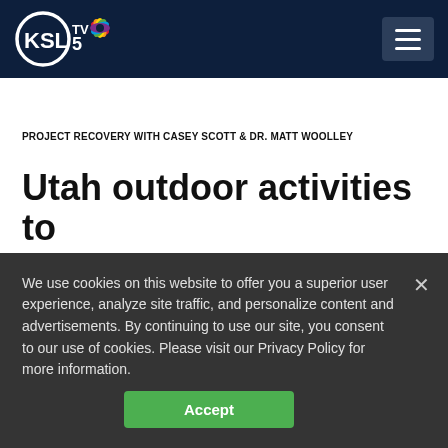KSL TV 5 NBC - Navigation header with logo and menu
PROJECT RECOVERY WITH CASEY SCOTT & DR. MATT WOOLLEY
Utah outdoor activities to
We use cookies on this website to offer you a superior user experience, analyze site traffic, and personalize content and advertisements. By continuing to use our site, you consent to our use of cookies. Please visit our Privacy Policy for more information.